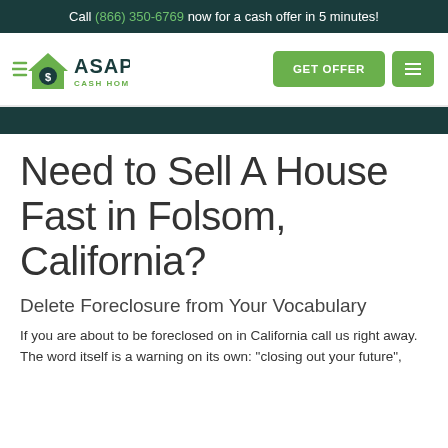Call (866) 350-6769 now for a cash offer in 5 minutes!
[Figure (logo): ASAP Cash Home Buyers logo with green house and dollar sign icon, green and dark teal text]
Need to Sell A House Fast in Folsom, California?
Delete Foreclosure from Your Vocabulary
If you are about to be foreclosed on in California call us right away. The word itself is a warning on its own: "closing out your future",